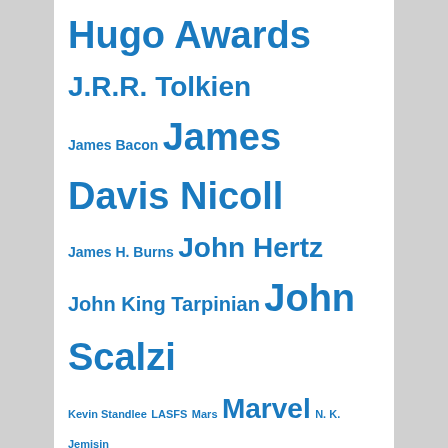[Figure (infographic): Tag cloud with science fiction blog topics in various sizes, all in blue. Terms include Hugo Awards, J.R.R. Tolkien, James Bacon, James Davis Nicoll, James H. Burns, John Hertz, John King Tarpinian, John Scalzi, Kevin Standlee, LASFS, Mars, Marvel, N.K. Jemisin, NASA, Neil Gaiman, Ray Bradbury, robots, Sad Puppies, Scott Edelman, SFF in Translation, SFWA, Star Trek, Star Wars, Ursula K. Le Guin, video games, Vox Day, William Shatner]
FEEDSPOT "TOP 50 SCIENCE FICTION BLOGS AND WEBSITES FOR SCI-FI FANS"
[Figure (logo): Red and gold W logo at the bottom center]